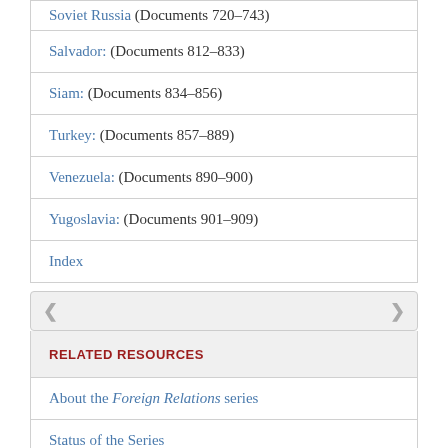Soviet Russia (Documents 720–743)
Salvador: (Documents 812–833)
Siam: (Documents 834–856)
Turkey: (Documents 857–889)
Venezuela: (Documents 890–900)
Yugoslavia: (Documents 901–909)
Index
RELATED RESOURCES
About the Foreign Relations series
Status of the Series